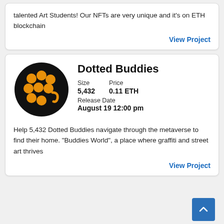talented Art Students! Our NFTs are very unique and it's on ETH blockchain
View Project
[Figure (logo): Dotted Buddies logo: black circle with orange dots arranged in a face pattern with a small orange curved hook]
Dotted Buddies
| Size | Price |
| --- | --- |
| 5,432 | 0.11 ETH |
Release Date
August 19 12:00 pm
Help 5,432 Dotted Buddies navigate through the metaverse to find their home. “Buddies World”, a place where graffiti and street art thrives
View Project